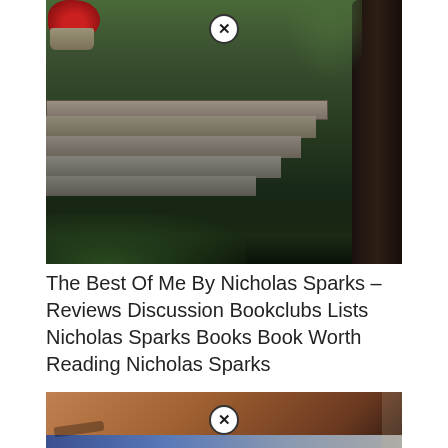[Figure (photo): A dark atmospheric photo of moss-covered stone steps in a garden setting, with red flowers in a stone urn on the left, green foliage, and a large tree trunk on the right. A circular close (X) button overlay is visible at the top center.]
The Best Of Me By Nicholas Sparks – Reviews Discussion Bookclubs Lists Nicholas Sparks Books Book Worth Reading Nicholas Sparks
[Figure (photo): A partially visible photo of what appears to be a book cover with a brownish/copper tone and a blue stripe at the bottom. A circular close (X) button overlay is visible at the center.]